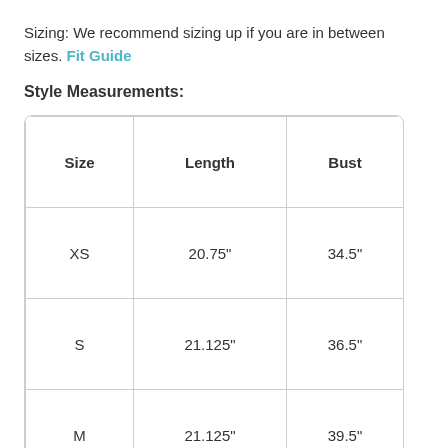Sizing: We recommend sizing up if you are in between sizes. Fit Guide
Style Measurements:
| Size | Length | Bust |
| --- | --- | --- |
| XS | 20.75" | 34.5" |
| S | 21.125" | 36.5" |
| M | 21.125" | 39.5" |